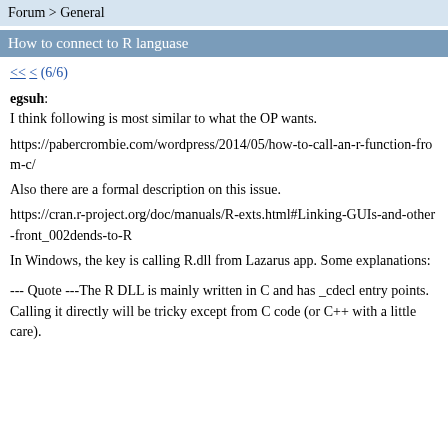Forum > General
How to connect to R languase
<< < (6/6)
egsuh:
I think following is most similar to what the OP wants.
https://pabercrombie.com/wordpress/2014/05/how-to-call-an-r-function-from-c/
Also there are a formal description on this issue.
https://cran.r-project.org/doc/manuals/R-exts.html#Linking-GUIs-and-other-front_002dends-to-R
In Windows, the key is calling R.dll from Lazarus app. Some explanations:
--- Quote ---The R DLL is mainly written in C and has _cdecl entry points. Calling it directly will be tricky except from C code (or C++ with a little care).